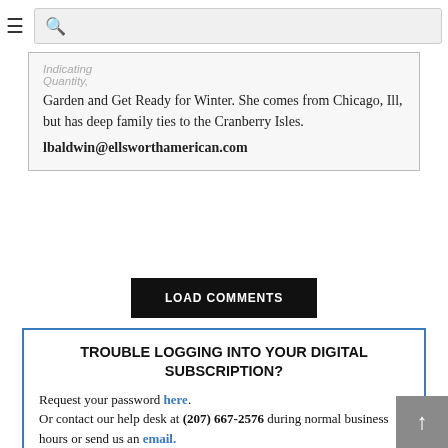☰ [search bar]
Garden and Get Ready for Winter. She comes from Chicago, Ill, but has deep family ties to the Cranberry Isles.
lbaldwin@ellsworthamerican.com
LOAD COMMENTS
TROUBLE LOGGING INTO YOUR DIGITAL SUBSCRIPTION?
Request your password here. Or contact our help desk at (207) 667-2576 during normal business hours or send us an email.
Request Password